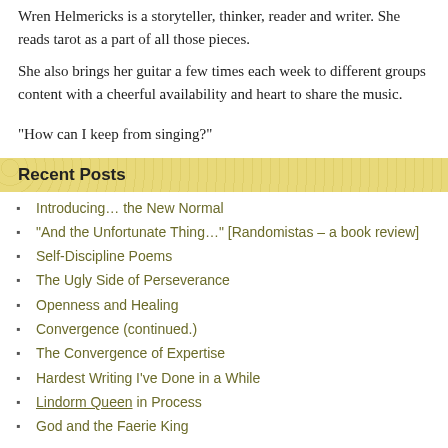Wren Helmericks is a storyteller, thinker, reader and writer. She reads tarot as a part of all those pieces.
She also brings her guitar a few times each week to different groups content with a cheerful availability and heart to share the music.
"How can I keep from singing?"
Recent Posts
Introducing… the New Normal
“And the Unfortunate Thing…” [Randomistas – a book review]
Self-Discipline Poems
The Ugly Side of Perseverance
Openness and Healing
Convergence (continued.)
The Convergence of Expertise
Hardest Writing I've Done in a While
Lindorm Queen in Process
God and the Faerie King